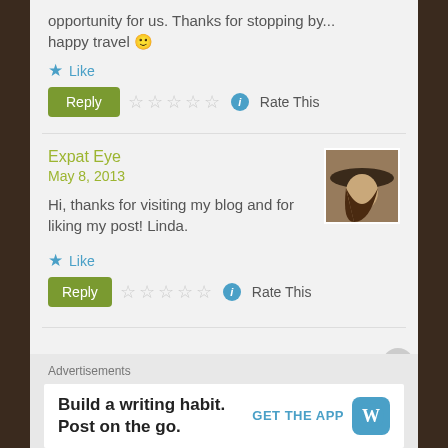opportunity for us. Thanks for stopping by... happy travel 🙂
★ Like
Reply | ☆☆☆☆☆ ℹ Rate This
Expat Eye
May 8, 2013
Hi, thanks for visiting my blog and for liking my post! Linda.
★ Like
Reply | ☆☆☆☆☆ ℹ Rate This
Advertisements
Build a writing habit. Post on the go. GET THE APP